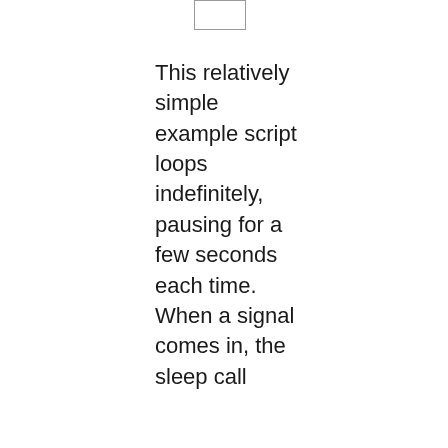[Figure (other): Small rectangular box or UI element at top of page]
This relatively simple example script loops indefinitely, pausing for a few seconds each time. When a signal comes in, the sleep call